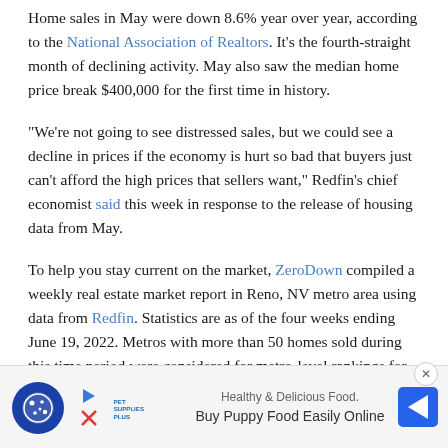Home sales in May were down 8.6% year over year, according to the National Association of Realtors. It's the fourth-straight month of declining activity. May also saw the median home price break $400,000 for the first time in history.
"We're not going to see distressed sales, but we could see a decline in prices if the economy is hurt so bad that buyers just can't afford the high prices that sellers want," Redfin's chief economist said this week in response to the release of housing data from May.
To help you stay current on the market, ZeroDown compiled a weekly real estate market report in Reno, NV metro area using data from Redfin. Statistics are as of the four weeks ending June 19, 2022. Metros with more than 50 homes sold during this time period were considered for metro-level rankings for each statistic.
[Figure (other): Advertisement banner: Pet Supplies Plus - Buy Puppy Food Easily Online, with cookie consent button overlay and close button]